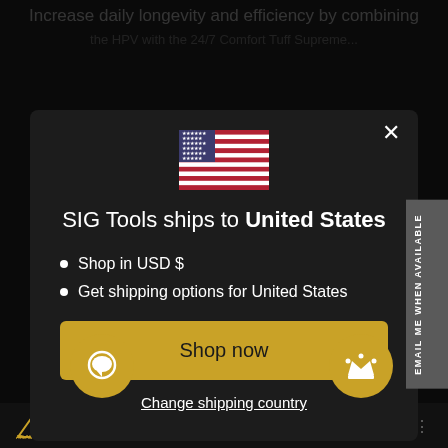Increase daily longevity and efficiency by combining the HPV with the 24/7 Comfort Tuff Supreme...
[Figure (screenshot): Modal dialog on dark background. Shows US flag emoji, text 'SIG Tools ships to United States', bullet points 'Shop in USD $' and 'Get shipping options for United States', a gold 'Shop now' button, and 'Change shipping country' link. Side tab reads 'EMAIL ME WHEN AVAILABLE'. Two gold circular buttons at bottom corners. Bottom bar shows 'Harvey Padded Belt' text with watermark.]